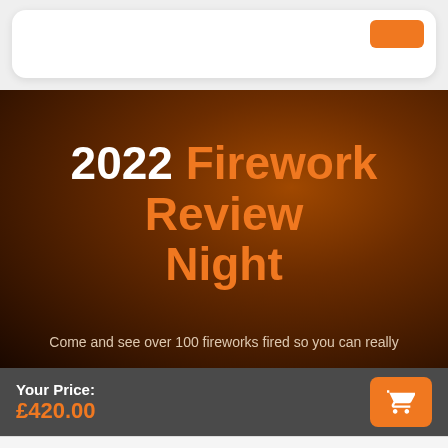[Figure (screenshot): Top white card area with rounded corners and partial orange button visible]
2022 Firework Review Night
Come and see over 100 fireworks fired so you can really
Your Price: £420.00
MENU  SHOP  WISHLIST  SIGN IN